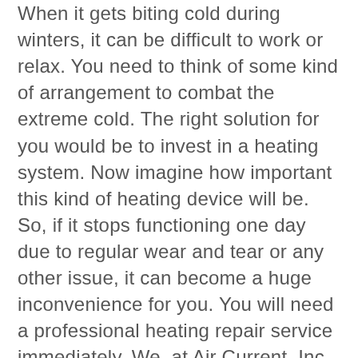When it gets biting cold during winters, it can be difficult to work or relax. You need to think of some kind of arrangement to combat the extreme cold. The right solution for you would be to invest in a heating system. Now imagine how important this kind of heating device will be. So, if it stops functioning one day due to regular wear and tear or any other issue, it can become a huge inconvenience for you. You will need a professional heating repair service immediately. We, at Air Current, Inc., can be the right choice for you. We are an established and reliable company which is been in this field for a long time. We can provide you with a wide range of services, right from the sales, installation, to repair and maintenance services of heating and cooling systems. We are known for our sense of professionalism, dedication, and efficiency. So, if you belong to areas such as Lake Mary, Sanford, Deland, Heathrow, Lake Helen,